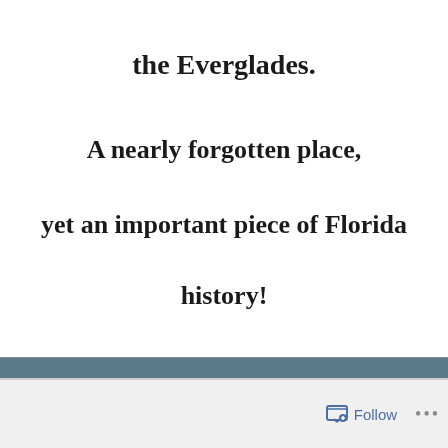the Everglades.
A nearly forgotten place,
yet an important piece of Florida
history!
.
(tap or click pic to read)